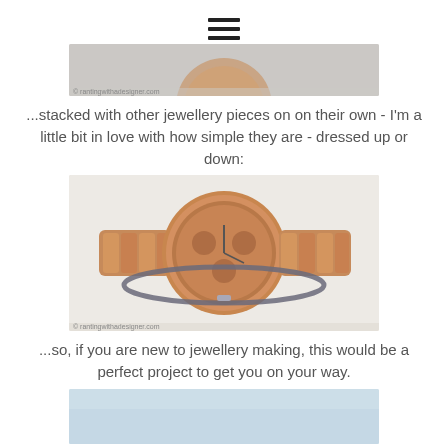[Figure (photo): Partial top view of a rose gold watch or jewelry piece on a light surface]
...stacked with other jewellery pieces on on their own - I'm a little bit in love with how simple they are - dressed up or down:
[Figure (photo): Rose gold chronograph watch with a thin dark grey/navy cord bracelet wrapped around it, on a white surface]
...so, if you are new to jewellery making, this would be a perfect project to get you on your way.
[Figure (photo): Partial view of a light blue/grey background, bottom of page]